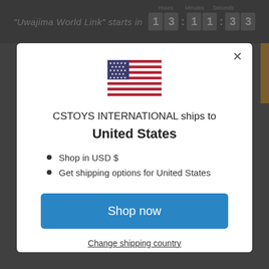"Uwajima World Link" starts in 13:11:33
[Figure (screenshot): US flag icon]
CSTOYS INTERNATIONAL ships to
United States
Shop in USD $
Get shipping options for United States
Shop now
Change shipping country